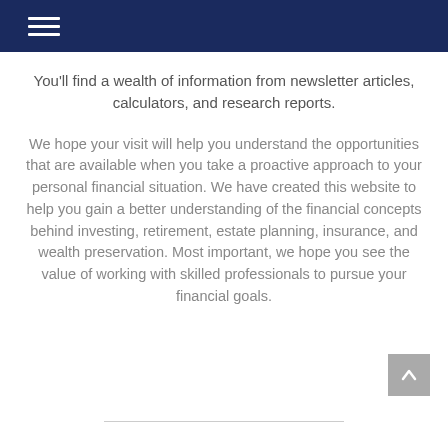You'll find a wealth of information from newsletter articles, calculators, and research reports.
We hope your visit will help you understand the opportunities that are available when you take a proactive approach to your personal financial situation. We have created this website to help you gain a better understanding of the financial concepts behind investing, retirement, estate planning, insurance, and wealth preservation. Most important, we hope you see the value of working with skilled professionals to pursue your financial goals.